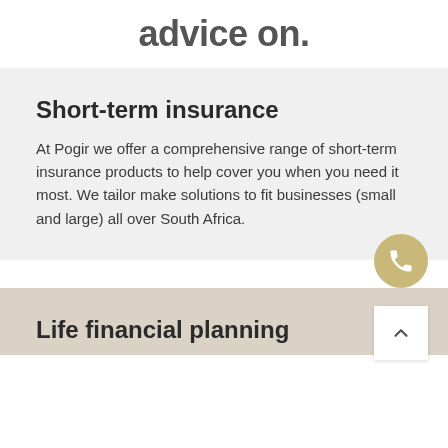advice on.
Short-term insurance
At Pogir we offer a comprehensive range of short-term insurance products to help cover you when you need it most. We tailor make solutions to fit businesses (small and large) all over South Africa.
Life financial planning